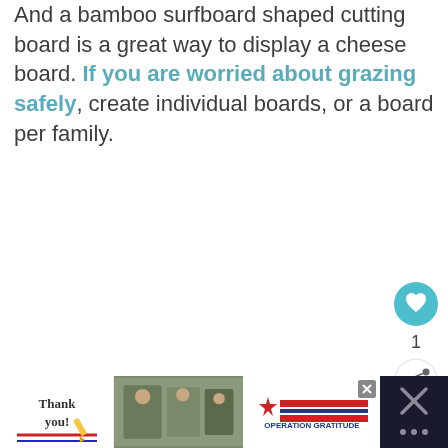And a bamboo surfboard shaped cutting board is a great way to display a cheese board. If you are worried about grazing safely, create individual boards, or a board per family.
[Figure (screenshot): UI elements: heart/like button (teal circle), like count of 1, share button (white circle with share icon)]
[Figure (screenshot): What's Next panel showing thumbnail image and text 'No Sew Gnome Sim...']
[Figure (screenshot): Advertisement banner for Operation Gratitude with thank you and military imagery, close button, and dark icon area on right]